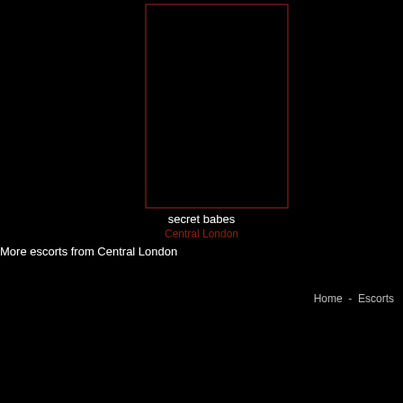[Figure (other): Dark rectangle with dark red/maroon border outline, mostly black interior, positioned in the upper-center area of the page]
secret babes
Central London
More escorts from Central London
Home  -  Escorts